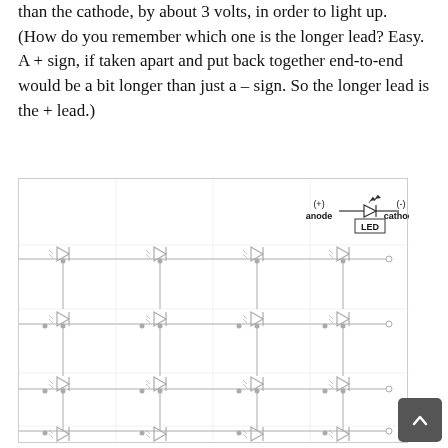than the cathode, by about 3 volts, in order to light up. (How do you remember which one is the longer lead? Easy. A + sign, if taken apart and put back together end-to-end would be a bit longer than just a – sign. So the longer lead is the + lead.)
[Figure (schematic): Circuit schematic showing an LED symbol with (+) anode on the left and (-) cathode on the right, labeled 'LED' in a box. Below is a grid of 4 columns and 4+ rows of LED diode symbols arranged in a matrix circuit, with horizontal and vertical connecting lines and dots marking junctions.]